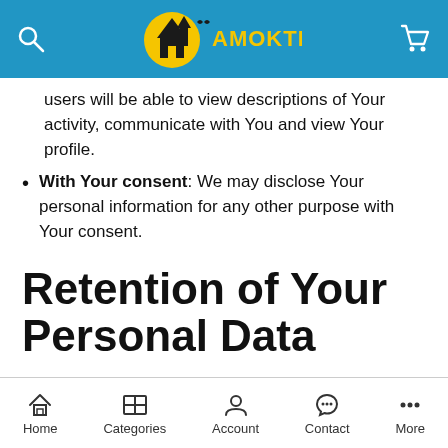AMOKTIME — navigation header with search, logo, and cart
users will be able to view descriptions of Your activity, communicate with You and view Your profile.
With Your consent: We may disclose Your personal information for any other purpose with Your consent.
Retention of Your Personal Data
The Company will retain Your Personal Data only for as long as is necessary for the purposes set out in this Privacy Policy. We will retain and use Your Personal Data to the extent necessary to comply with our legal obligations (for example, if we are required to retain your data to comply with applicable laws), resolve disputes, and enforce our legal agreements and policies.
Home | Categories | Account | Contact | More